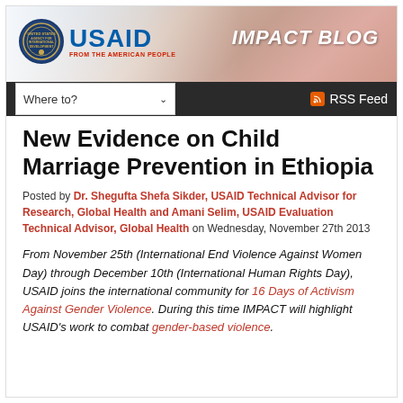[Figure (photo): USAID Impact Blog header banner with USAID logo on left and 'IMPACT BLOG' text on right, with background photo of people]
Where to? | RSS Feed
New Evidence on Child Marriage Prevention in Ethiopia
Posted by Dr. Shegufta Shefa Sikder, USAID Technical Advisor for Research, Global Health and Amani Selim, USAID Evaluation Technical Advisor, Global Health on Wednesday, November 27th 2013
From November 25th (International End Violence Against Women Day) through December 10th (International Human Rights Day), USAID joins the international community for 16 Days of Activism Against Gender Violence. During this time IMPACT will highlight USAID's work to combat gender-based violence.